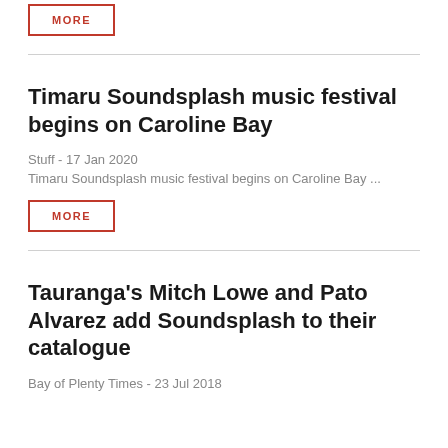MORE
Timaru Soundsplash music festival begins on Caroline Bay
Stuff - 17 Jan 2020
Timaru Soundsplash music festival begins on Caroline Bay ...
MORE
Tauranga's Mitch Lowe and Pato Alvarez add Soundsplash to their catalogue
Bay of Plenty Times - 23 Jul 2018